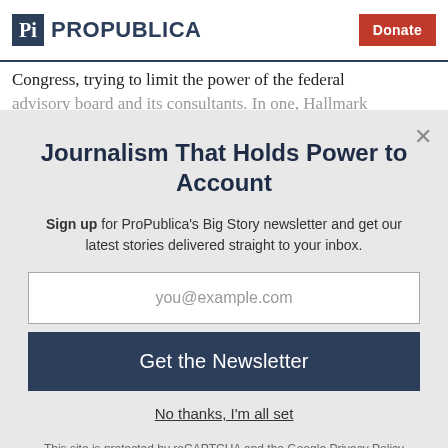ProPublica | Donate
Congress, trying to limit the power of the federal advisory board and its consultants. In one, Hallmark
Journalism That Holds Power to Account
Sign up for ProPublica's Big Story newsletter and get our latest stories delivered straight to your inbox.
you@example.com
Get the Newsletter
No thanks, I'm all set
This site is protected by reCAPTCHA and the Google Privacy Policy and Terms of Service apply.